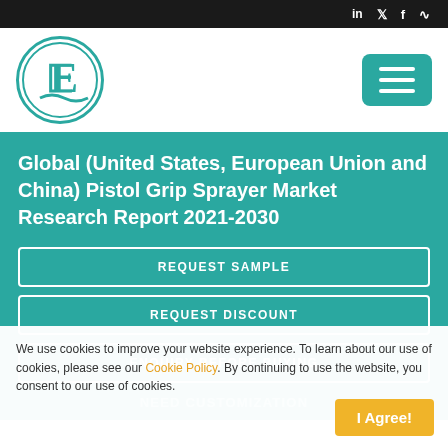Social icons: LinkedIn, Twitter, Facebook, RSS
[Figure (logo): Company logo with letter E in teal circle]
Global (United States, European Union and China) Pistol Grip Sprayer Market Research Report 2021-2030
REQUEST SAMPLE
REQUEST DISCOUNT
ENQUIRY BEFORE BUYING
NEED CUSTOMIZATION
We use cookies to improve your website experience. To learn about our use of cookies, please see our Cookie Policy. By continuing to use the website, you consent to our use of cookies.
I Agree!